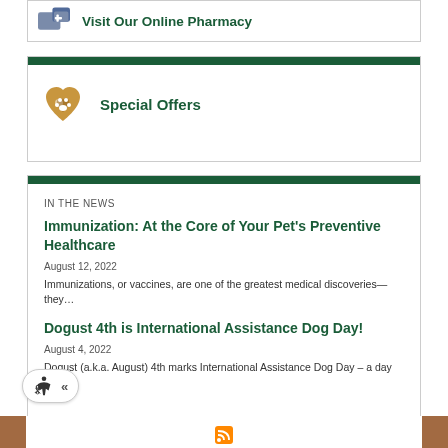Visit Our Online Pharmacy
Special Offers
IN THE NEWS
Immunization: At the Core of Your Pet's Preventive Healthcare
August 12, 2022
Immunizations, or vaccines, are one of the greatest medical discoveries—they…
Dogust 4th is International Assistance Dog Day!
August 4, 2022
Dogust (a.k.a. August) 4th marks International Assistance Dog Day – a day to…